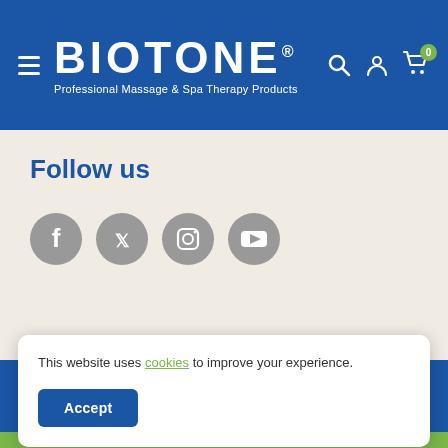BIOTONE® Professional Massage & Spa Therapy Products
Follow us
[Figure (illustration): Four social media icons in grey circles: Facebook, Twitter, Instagram, YouTube]
Join Us
This website uses cookies to improve your experience.
Accept